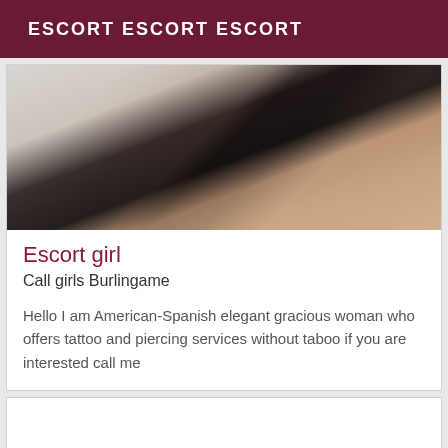ESCORT ESCORT ESCORT
[Figure (photo): Cropped photo showing legs of a woman on a white surface, wearing dark clothing, skin tone visible on lower legs and feet]
Escort girl
Call girls Burlingame
Hello I am American-Spanish elegant gracious woman who offers tattoo and piercing services without taboo if you are interested call me